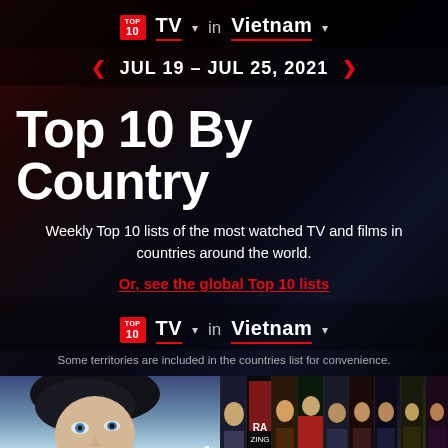TOP 10 | TV ▾ in Vietnam ▾
JUL 19 - JUL 25, 2021
Top 10 By Country
Weekly Top 10 lists of the most watched TV and films in countries around the world.
Or, see the global Top 10 lists
TOP 10 | TV ▾ in Vietnam ▾
Some territories are included in the countries list for convenience.
[Figure (screenshot): Bottom thumbnail strip showing top 10 TV shows in Vietnam. Position 1 shows a close-up of a person's face with light blue background. Positions 2-10 show small thumbnail images of various shows numbered 2 through 10.]